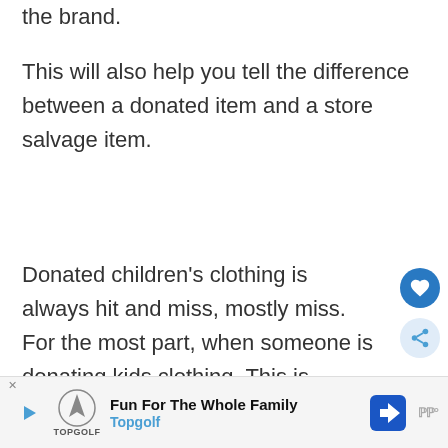the brand.
This will also help you tell the difference between a donated item and a store salvage item.
Donated children's clothing is always hit and miss, mostly miss. For the most part, when someone is donating kids clothing. This is be... the clothing... ally hi... e
[Figure (other): Advertisement banner for Topgolf - Fun For The Whole Family]